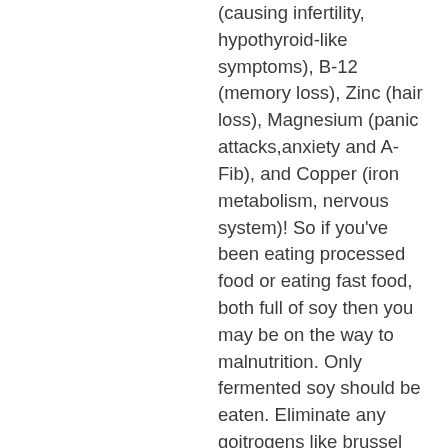(causing infertility, hypothyroid-like symptoms), B-12 (memory loss), Zinc (hair loss), Magnesium (panic attacks,anxiety and A-Fib), and Copper (iron metabolism, nervous system)! So if you've been eating processed food or eating fast food, both full of soy then you may be on the way to malnutrition. Only fermented soy should be eaten. Eliminate any goitrogens like brussel sprouts, strawberries, peaches, cabbage, KALE (estrogenic as well), peanuts, soybeans and fluoridated water too. Once you have cleaned up your diet from all these goitrogens then your thyroid will be able to function better when you add the T-3! Otherwise it will be an uphill battle. Just adding the T-3 when you are in a low nutrition state may not work as well. Even I added fish oil to fight inflammation to my daily list. So set the stage with a clean slate before adding the